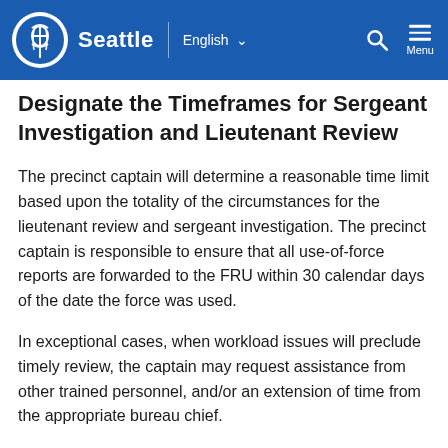Seattle | English ∨  🔍  Menu
Designate the Timeframes for Sergeant Investigation and Lieutenant Review
The precinct captain will determine a reasonable time limit based upon the totality of the circumstances for the lieutenant review and sergeant investigation. The precinct captain is responsible to ensure that all use-of-force reports are forwarded to the FRU within 30 calendar days of the date the force was used.
In exceptional cases, when workload issues will preclude timely review, the captain may request assistance from other trained personnel, and/or an extension of time from the appropriate bureau chief.